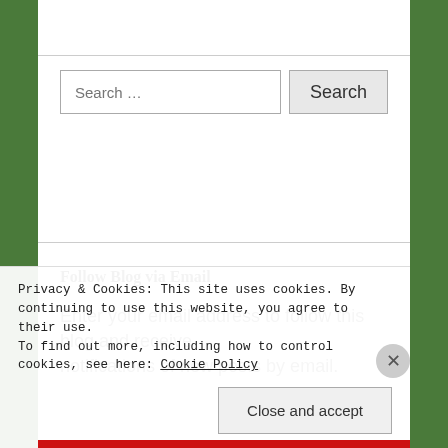Search …
Follow Blog via Email
Enter your email address to follow this blog and receive notifications of new posts by email.
Privacy & Cookies: This site uses cookies. By continuing to use this website, you agree to their use. To find out more, including how to control cookies, see here: Cookie Policy
Close and accept